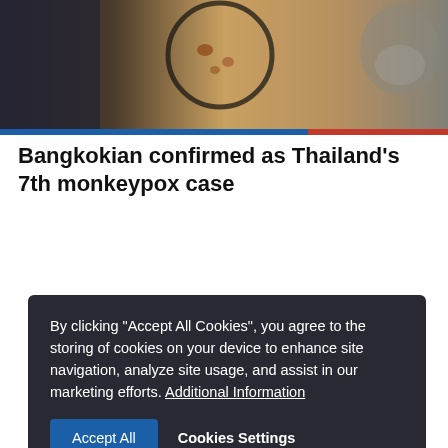[Figure (photo): Close-up photo of monkeypox lesions being examined, with a monkey visible on the right side]
Bangkokian confirmed as Thailand's 7th monkeypox case
By clicking "Accept All Cookies", you agree to the storing of cookies on your device to enhance site navigation, analyze site usage, and assist in our marketing efforts. Additional Information
Accept All   Cookies Settings
PROMOTED CONTENT
[Figure (photo): Man in blue suit with glasses raising his fist, people wearing masks in the background]